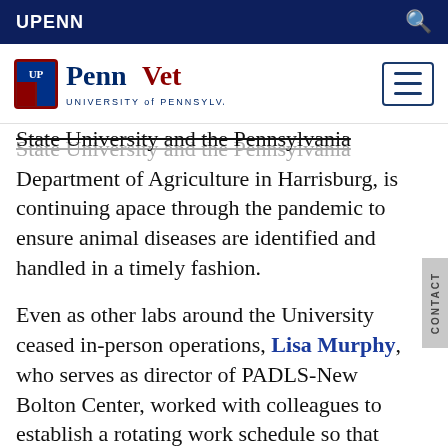UPENN
[Figure (logo): PennVet University of Pennsylvania logo with shield emblem]
State University and the Pennsylvania Department of Agriculture in Harrisburg, is continuing apace through the pandemic to ensure animal diseases are identified and handled in a timely fashion.
Even as other labs around the University ceased in-person operations, Lisa Murphy, who serves as director of PADLS-New Bolton Center, worked with colleagues to establish a rotating work schedule so that the 30 PADLS staff could continue their vital diagnostic and surveillance tests while adhering to PPE